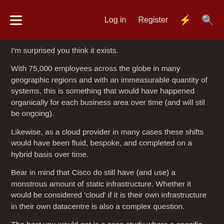Log in  Register
I'm surprised you think it exists.
With 75,000 employees across the globe in many geographic regions and with an immeasurable quantity of systems, this is something that would have happened organically for each business area over time (and will stil be ongoing).
Likewise, as a cloud provider in many cases these shifts would have been fluid, bespoke, and completed on a hybrid basis over time.
Bear in mind that Cisco do still have (and use) a monstrous amount of static infrastructure. Whether it would be considered 'cloud' if it is their own infrastructure in their own datacentre is also a complex question.
The best you would get is a case study where a specific business unit in Cisco moved a specific system to a platform they considered 'cloud'. You're not going to get something